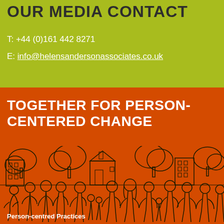OUR MEDIA CONTACT
T: +44 (0)161 442 8271
E: info@helensandersonassociates.co.uk
TOGETHER FOR PERSON-CENTERED CHANGE
[Figure (illustration): Line drawing illustration of a diverse group of people standing together in front of houses and trees, on an orange background]
Person-centred Practices